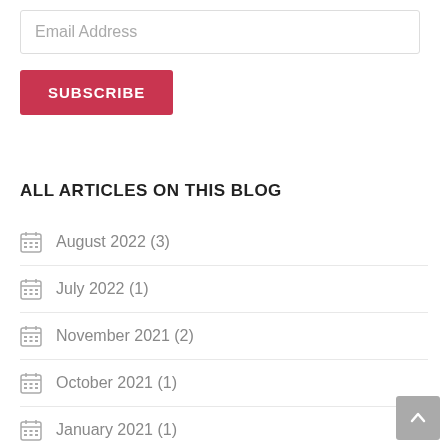Email Address
SUBSCRIBE
ALL ARTICLES ON THIS BLOG
August 2022 (3)
July 2022 (1)
November 2021 (2)
October 2021 (1)
January 2021 (1)
October 2020 (4)
September 2020 (2)